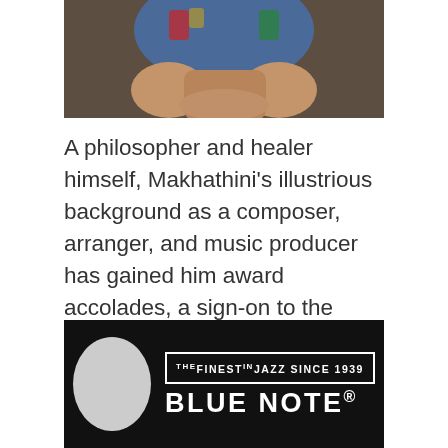[Figure (photo): Partial photo of a person wearing a colorful embroidered denim vest, arms folded, cropped at top of page]
A philosopher and healer himself, Makhathini's illustrious background as a composer, arranger, and music producer has gained him award accolades, a sign-on to the notable U.S. jazz label, Blue Note, and academic growth that propels his style of improvisation further into the musical portals of African spirituality. See the 38 minute conversation recording below.
[Figure (logo): Blue Note Records logo on black background: oval shape on left, text badge reading 'THE FINEST IN JAZZ SINCE 1939' above large 'BLUE NOTE.' text on right]